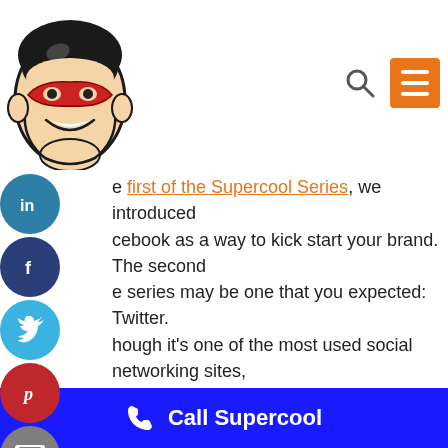[Figure (logo): Supercool superhero mascot: retro comic-style man with red mask, smiling]
[Figure (other): Search icon (magnifying glass) and orange hamburger menu button in header]
[Figure (other): Social sharing sidebar with LinkedIn (teal), Facebook (dark blue), Twitter (light blue), Pinterest (red), Email (gray) circular buttons]
first of the Supercool Series, we introduced Facebook as a way to kick start your brand. The second of the series may be one that you expected: Twitter. Although it's one of the most used social networking sites, Twitter comes with some features you may not have recognized as useful to your brand. Get ready because it's time to take notes! While Facebook lets you interact with consumers directly, Twitter goes a step further. One of the great elements of
Call Supercool